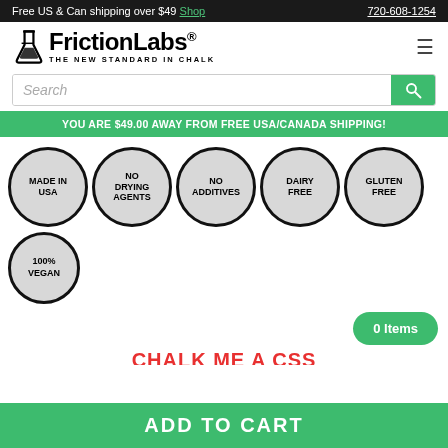Free US & Can shipping over $49 Shop   720-608-1254
[Figure (logo): FrictionLabs flask logo with text 'FrictionLabs® THE NEW STANDARD IN CHALK']
Search
YOU ARE $49.00 AWAY FROM FREE USA/CANADA SHIPPING!
[Figure (infographic): Six circular badges: MADE IN USA, NO DRYING AGENTS, NO ADDITIVES, DAIRY FREE, GLUTEN FREE, 100% VEGAN]
0 Items
CHALK ME A CSS
ADD TO CART